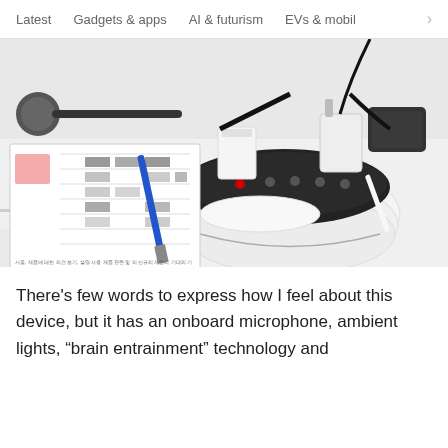Latest   Gadgets & apps   AI & futurism   EVs & mobil  >
[Figure (photo): A desk with a black electronic headband device placed on a white laptop case/bag. There is a paper with Korean text and charts, a blue screwdriver, a paper cup, phone chargers and cables, and other accessories on the desk.]
There’s few words to express how I feel about this device, but it has an onboard microphone, ambient lights, “brain entrainment” technology and